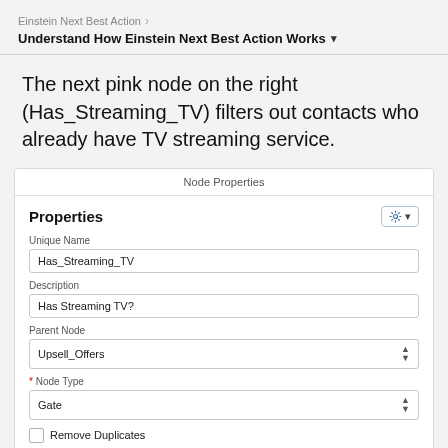Einstein Next Best Action > Understand How Einstein Next Best Action Works
The next pink node on the right (Has_Streaming_TV) filters out contacts who already have TV streaming service.
[Figure (screenshot): Node Properties panel showing fields: Unique Name = Has_Streaming_TV, Description = Has Streaming TV?, Parent Node = Upsell_Offers, Node Type = Gate, with checkboxes for Remove Duplicates and Only First Match]